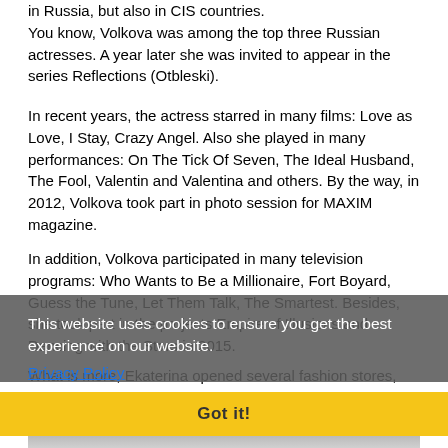in Russia, but also in CIS countries. You know, Volkova was among the top three Russian actresses. A year later she was invited to appear in the series Reflections (Otbleski).
In recent years, the actress starred in many films: Love as Love, I Stay, Crazy Angel. Also she played in many performances: On The Tick Of Seven, The Ideal Husband, The Fool, Valentin and Valentina and others. By the way, in 2012, Volkova took part in photo session for MAXIM magazine.
In addition, Volkova participated in many television programs: Who Wants to Be a Millionaire, Fort Boyard, Guess the Tune, Let Them Talk, The Smartest. Besides, she took part in the projects Empire of Illusions and Dancing with the Stars in 2015.
What is more, Ekaterina opened several fashion stores, and together with her husband, the actress opened a dance school.
This website uses cookies to ensure you get the best experience on our website.
Privacy Policy
Got it!
[Figure (photo): Bottom of page showing partial view of a person (actress Ekaterina Volkova), image cropped at page bottom]